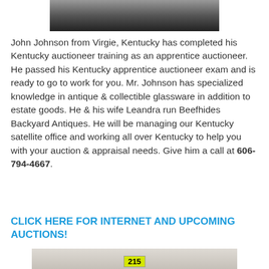[Figure (photo): Partial top portion of a person's photo, cropped, shown at the top of the page]
John Johnson from Virgie, Kentucky has completed his Kentucky auctioneer training as an apprentice auctioneer. He passed his Kentucky apprentice auctioneer exam and is ready to go to work for you. Mr. Johnson has specialized knowledge in antique & collectible glassware in addition to estate goods. He & his wife Leandra run Beefhides Backyard Antiques. He will be managing our Kentucky satellite office and working all over Kentucky to help you with your auction & appraisal needs. Give him a call at 606-794-4667.
CLICK HERE FOR INTERNET AND UPCOMING AUCTIONS!
[Figure (photo): Auction item photo showing an object with a yellow lot tag numbered 215]